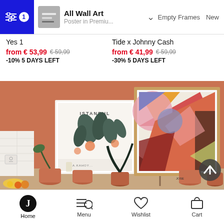All Wall Art | Poster in Premiu... | Empty Frames | New
Yes 1
from € 53,99  € 59,99
-10% 5 DAYS LEFT
Tide x Johnny Cash
from € 41,99  € 59,99
-30% 5 DAYS LEFT
[Figure (photo): Interior scene with two framed art prints on an orange/terracotta wall. Left frame shows an Istanbul botanical poster with dark leaves on light background. Right frame shows a large abstract geometric colorful composition. Several potted plants and bowls of fruit are arranged in front on a shelf.]
Home | Menu | Wishlist | Cart